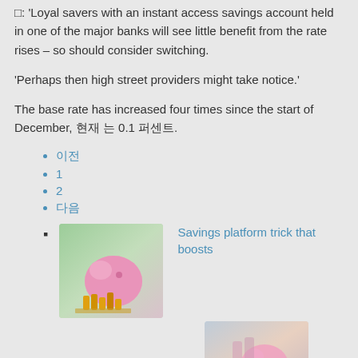□: 'Loyal savers with an instant access savings account held in one of the major banks will see little benefit from the rate rises – so should consider switching.
'Perhaps then high street providers might take notice.'
The base rate has increased four times since the start of December, 현재 는 0.1 퍼센트.
이전
1
2
다음
[Figure (photo): Pink piggy bank with coins and hands, savings concept image]
Savings platform trick that boosts rates: Competition heats…
[Figure (photo): Person inserting coin into piggy bank, savings concept image]
Top-